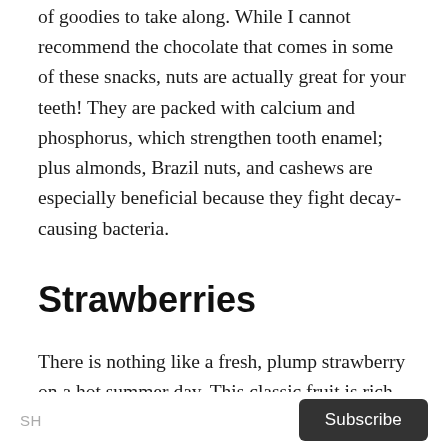of goodies to take along. While I cannot recommend the chocolate that comes in some of these snacks, nuts are actually great for your teeth! They are packed with calcium and phosphorus, which strengthen tooth enamel; plus almonds, Brazil nuts, and cashews are especially beneficial because they fight decay-causing bacteria.
Strawberries
There is nothing like a fresh, plump strawberry on a hot summer day. This classic fruit is rich in vitamin C, which you may know is good for your body,
SH  Subscribe